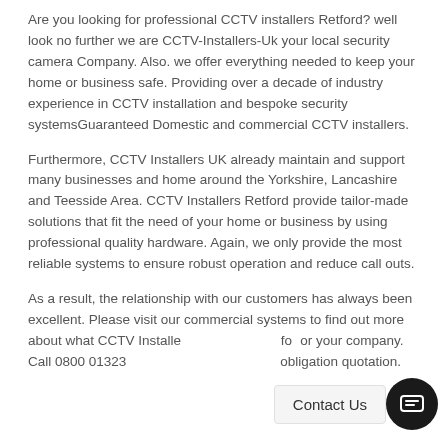Are you looking for professional CCTV installers Retford? well look no further we are CCTV-Installers-Uk your local security camera Company. Also. we offer everything needed to keep your home or business safe. Providing over a decade of industry experience in CCTV installation and bespoke security systemsGuaranteed Domestic and commercial CCTV installers.
Furthermore, CCTV Installers UK already maintain and support many businesses and home around the Yorkshire, Lancashire and Teesside Area. CCTV Installers Retford provide tailor-made solutions that fit the need of your home or business by using professional quality hardware. Again, we only provide the most reliable systems to ensure robust operation and reduce call outs.
As a result, the relationship with our customers has always been excellent. Please visit our commercial systems to find out more about what CCTV Installers Retford can offer for or your company. Call 0800 013234... free today and get an obligation quotation.